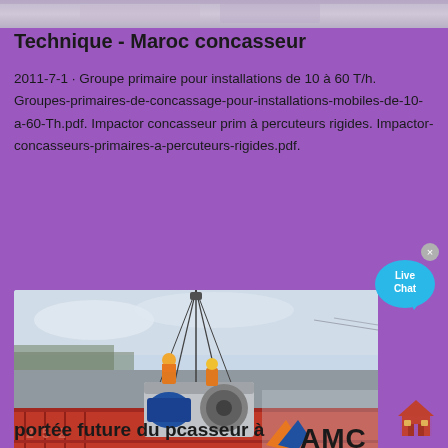[Figure (photo): Cropped top portion of an image, likely showing outdoor/construction scene]
Technique - Maroc concasseur
2011-7-1 · Groupe primaire pour installations de 10 à 60 T/h. Groupes-primaires-de-concassage-pour-installations-mobiles-de-10-a-60-Th.pdf. Impactor concasseur prim à percuteurs rigides. Impactor-concasseurs-primaires-a-percuteurs-rigides.pdf.
[Figure (photo): Construction workers in orange safety vests and yellow helmets operating a crane lifting heavy machinery on a red freight train car. AMC logo visible on the right side.]
portée future du pcasseur à